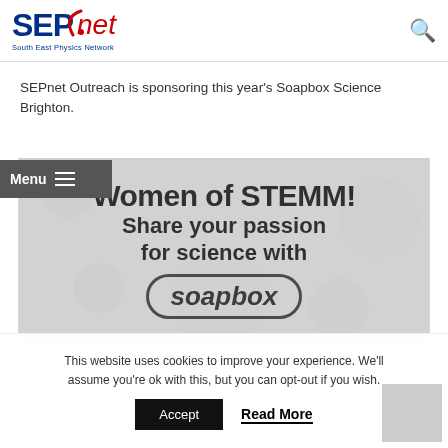SEPnet South East Physics Network
SEPnet Outreach is sponsoring this year's Soapbox Science Brighton.
[Figure (screenshot): Soapbox Science promotional banner with text: Women of STEMM! Share your passion for science with soapbox, overlaid on a microscopy/science background image. A dark grey Menu button with hamburger icon overlaps the top-left.]
This website uses cookies to improve your experience. We'll assume you're ok with this, but you can opt-out if you wish.